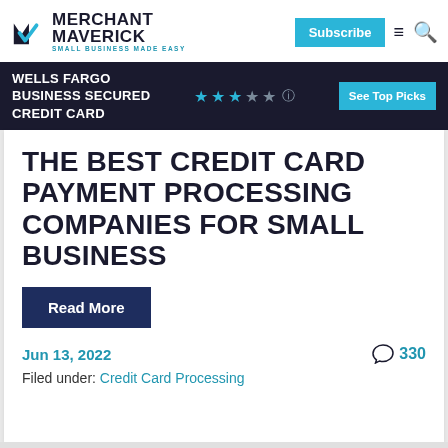MERCHANT MAVERICK — SMALL BUSINESS MADE EASY
WELLS FARGO BUSINESS SECURED CREDIT CARD — ★★★☆☆ — See Top Picks
THE BEST CREDIT CARD PAYMENT PROCESSING COMPANIES FOR SMALL BUSINESS
Read More
Jun 13, 2022
330
Filed under: Credit Card Processing